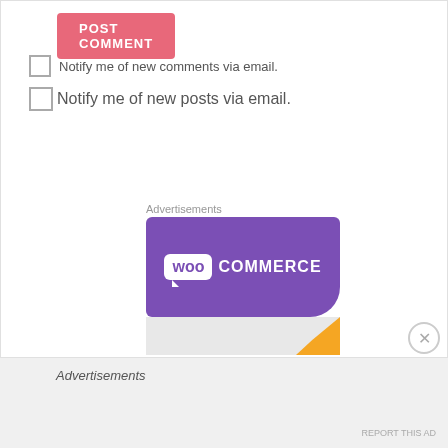POST COMMENT
Notify me of new comments via email.
Notify me of new posts via email.
Advertisements
[Figure (logo): WooCommerce advertisement banner with purple background showing WooCommerce logo, with gray and orange section below]
Advertisements
REPORT THIS AD